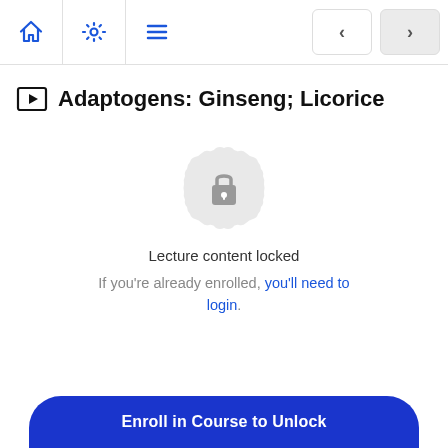Navigation bar with home, settings, menu icons and prev/next arrows
Adaptogens: Ginseng; Licorice
[Figure (illustration): Lock icon inside a grey decorative badge/seal shape indicating locked content]
Lecture content locked
If you're already enrolled, you'll need to login.
Enroll in Course to Unlock